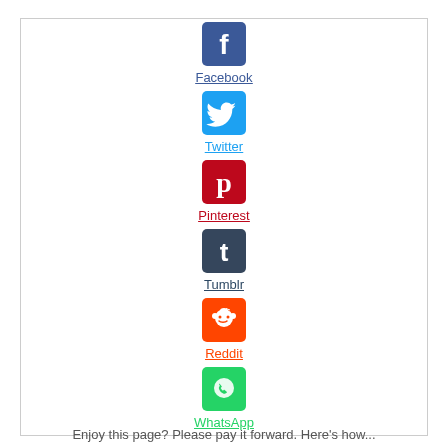[Figure (logo): Facebook logo icon - blue square with white F]
Facebook
[Figure (logo): Twitter logo icon - blue bird on white]
Twitter
[Figure (logo): Pinterest logo icon - red square with white P]
Pinterest
[Figure (logo): Tumblr logo icon - dark blue square with white t]
Tumblr
[Figure (logo): Reddit logo icon - orange square with white alien mascot]
Reddit
[Figure (logo): WhatsApp logo icon - green square with white phone handset]
WhatsApp
Enjoy this page? Please pay it forward. Here's how...